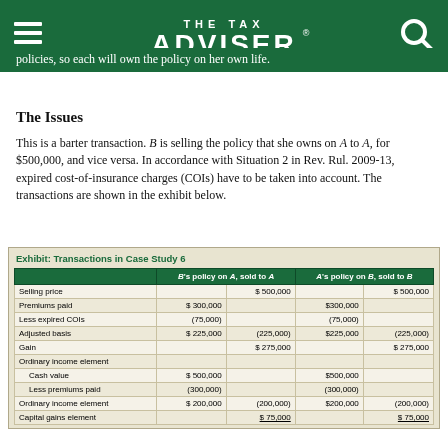THE TAX ADVISER
policies, so each will own the policy on her own life.
The Issues
This is a barter transaction. B is selling the policy that she owns on A to A, for $500,000, and vice versa. In accordance with Situation 2 in Rev. Rul. 2009-13, expired cost-of-insurance charges (COIs) have to be taken into account. The transactions are shown in the exhibit below.
Exhibit: Transactions in Case Study 6
|  | B's policy on A, sold to A |  | A's policy on B, sold to B |  |
| --- | --- | --- | --- | --- |
| Selling price |  | $ 500,000 |  | $ 500,000 |
| Premiums paid | $ 300,000 |  | $300,000 |  |
| Less expired COIs | (75,000) |  | (75,000) |  |
| Adjusted basis | $ 225,000 | (225,000) | $225,000 | (225,000) |
| Gain |  | $ 275,000 |  | $ 275,000 |
| Ordinary income element |  |  |  |  |
|   Cash value | $ 500,000 |  | $500,000 |  |
|   Less premiums paid | (300,000) |  | (300,000) |  |
| Ordinary income element | $ 200,000 | (200,000) | $200,000 | (200,000) |
| Capital gains element |  | $ 75,000 |  | $ 75,000 |